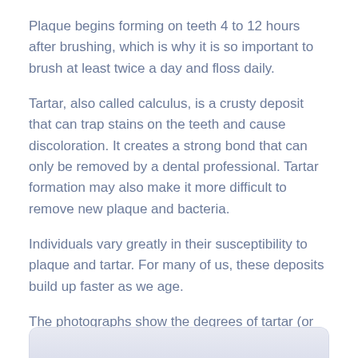Plaque begins forming on teeth 4 to 12 hours after brushing, which is why it is so important to brush at least twice a day and floss daily.
Tartar, also called calculus, is a crusty deposit that can trap stains on the teeth and cause discoloration. It creates a strong bond that can only be removed by a dental professional. Tartar formation may also make it more difficult to remove new plaque and bacteria.
Individuals vary greatly in their susceptibility to plaque and tartar. For many of us, these deposits build up faster as we age.
The photographs show the degrees of tartar (or calculus) formation.
There are many stages and forms of periodontal disease, including:
[Figure (photo): Partial view of a photograph showing degrees of tartar (calculus) formation, cropped at bottom of page]